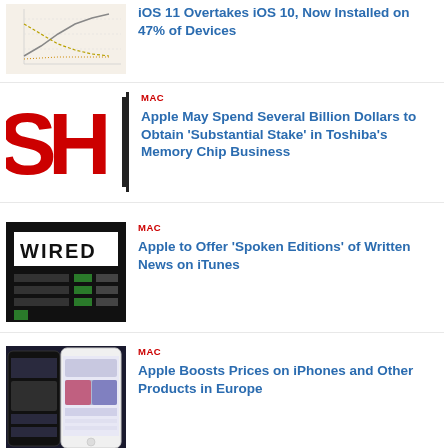[Figure (continuous-plot): Partial line chart showing iOS version data]
iOS 11 Overtakes iOS 10, Now Installed on 47% of Devices
[Figure (logo): SH| logo in red and black]
MAC
Apple May Spend Several Billion Dollars to Obtain 'Substantial Stake' in Toshiba's Memory Chip Business
[Figure (screenshot): Wired magazine website screenshot with black background]
MAC
Apple to Offer 'Spoken Editions' of Written News on iTunes
[Figure (screenshot): iPhone screenshot showing music/app interface]
MAC
Apple Boosts Prices on iPhones and Other Products in Europe